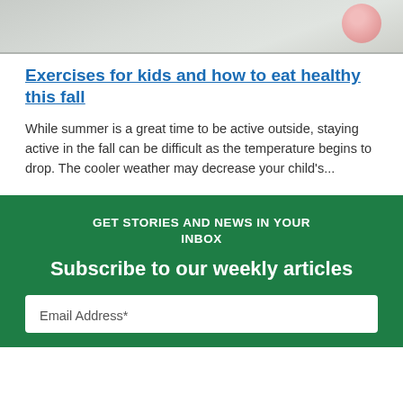[Figure (photo): Top portion of an article image showing a light-colored background with a pink floral element in the upper right corner.]
Exercises for kids and how to eat healthy this fall
While summer is a great time to be active outside, staying active in the fall can be difficult as the temperature begins to drop. The cooler weather may decrease your child's...
GET STORIES AND NEWS IN YOUR INBOX
Subscribe to our weekly articles
Email Address*